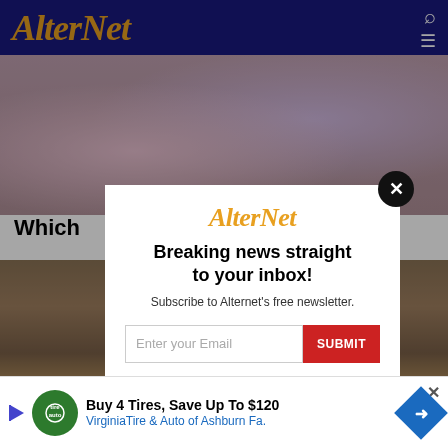AlterNet
[Figure (photo): Background photo showing people, partially visible behind modal overlay]
Which
[Figure (screenshot): Modal popup with AlterNet logo, newsletter signup form with email input and SUBMIT button]
[Figure (photo): Photo of person with baby stroller on steps]
[Figure (infographic): Advertisement: Buy 4 Tires, Save Up To $120, VirginiaTire & Auto of Ashburn Fa.]